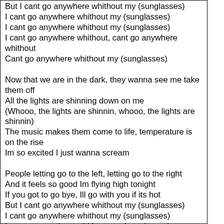But I cant go anywhere whithout my (sunglasses)
I cant go anywhere whithout my (sunglasses)
I cant go anywhere whithout my (sunglasses)
I cant go anywhere whithout, cant go anywhere whithout
Cant go anywhere whithout my (sunglasses)

Now that we are in the dark, they wanna see me take them off
All the lights are shinning down on me
(Whooo, the lights are shinnin, whooo, the lights are shinnin)
The music makes them come to life, temperature is on the rise
Im so excited I just wanna scream

People letting go to the left, letting go to the right
And it feels so good Im flying high tonight
If you got to go bye, Ill go with you if its hot
But I cant go anywhere whithout my (sunglasses)
I cant go anywhere whithout my (sunglasses)
I cant go anywhere whithout my (sunglasses)
I cant go anywhere whithout, cant go anywhere whithout
Cant go anywhere whithout my (sunglasses)

Valentino's with tha diamonds on 'em
Prada, Gucci, Armani
It doesnt matter if Im good when Ive got it
I cant go anywhere without my

People letting go to the left, letting go to the right
And it feels so good Im flying high tonight
If you got to go bye, Ill go with you if its hot